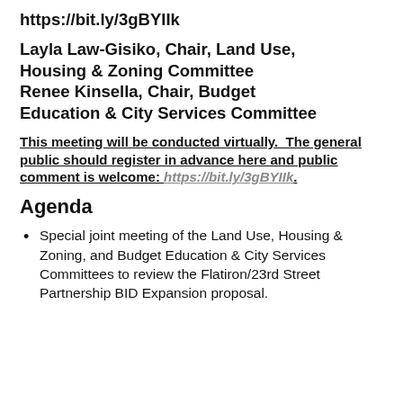Video Conference https://bit.ly/3gBYIIk
Layla Law-Gisiko, Chair, Land Use, Housing & Zoning Committee Renee Kinsella, Chair, Budget Education & City Services Committee
This meeting will be conducted virtually.  The general public should register in advance here and public comment is welcome: https://bit.ly/3gBYIIk.
Agenda
Special joint meeting of the Land Use, Housing & Zoning, and Budget Education & City Services Committees to review the Flatiron/23rd Street Partnership BID Expansion proposal.